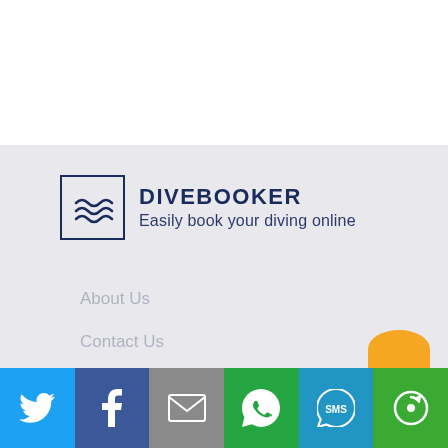[Figure (logo): DiveBooker logo with wave icon in a box and text DIVEBOOKER / Easily book your diving online]
About Us
Contact Us
Terms & Conditions
Privacy Policy
[Figure (infographic): Social sharing bar with Twitter, Facebook, Email, WhatsApp, SMS, and other share buttons in colored blocks]